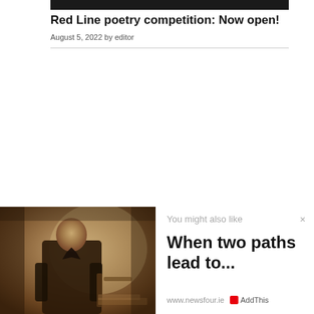[Figure (photo): Top portion of an article thumbnail image — dark banner/image cropped at top]
Red Line poetry competition: Now open!
August 5, 2022 by editor
[Figure (photo): Sepia-toned vintage photograph of a man in formal dark suit standing beside a wooden chair]
You might also like
When two paths lead to...
www.newsfour.ie
AddThis